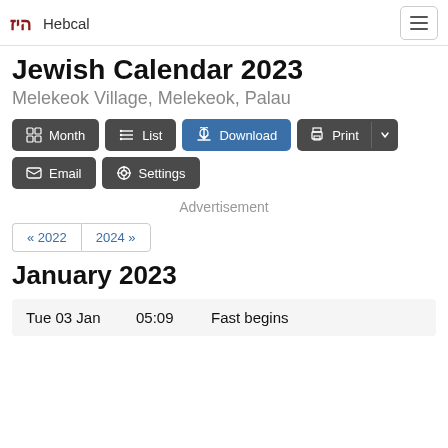Hebcal
Jewish Calendar 2023
Melekeok Village, Melekeok, Palau
Month | List | Download | Print | Email | Settings
Advertisement
« 2022  2024 »
January 2023
| Date | Time | Event |
| --- | --- | --- |
| Tue 03 Jan | 05:09 | Fast begins |